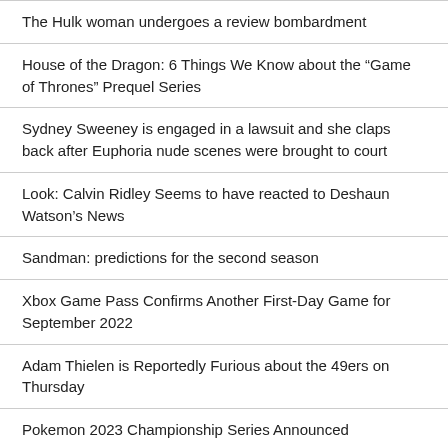The Hulk woman undergoes a review bombardment
House of the Dragon: 6 Things We Know about the “Game of Thrones” Prequel Series
Sydney Sweeney is engaged in a lawsuit and she claps back after Euphoria nude scenes were brought to court
Look: Calvin Ridley Seems to have reacted to Deshaun Watson’s News
Sandman: predictions for the second season
Xbox Game Pass Confirms Another First-Day Game for September 2022
Adam Thielen is Reportedly Furious about the 49ers on Thursday
Pokemon 2023 Championship Series Announced